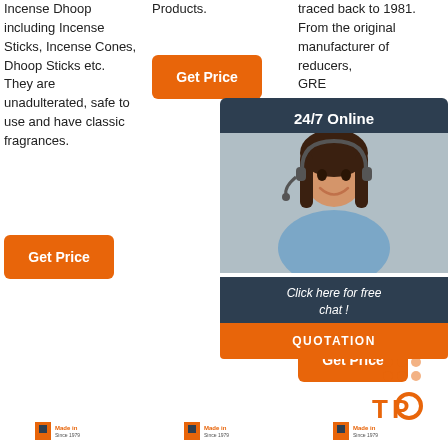Incense Dhoop including Incense Sticks, Incense Cones, Dhoop Sticks etc. They are unadulterated, safe to use and have classic fragrances.
Get Price
Get Price
Products.
traced back to 1981. From the original manufacturer of reducers, GRE... sinc... lead... Chin... tech... desi... man... as th... agita...
[Figure (infographic): 24/7 Online chat widget with dark blue background, photo of woman with headset, italic text 'Click here for free chat!', and orange QUOTATION button]
Get Price
[Figure (other): TOP badge with orange dots pattern]
[Figure (logo): Made in Since 1979 logo - left column]
[Figure (logo): Made in Since 1979 logo - middle column]
[Figure (logo): Made in Since 1979 logo - right column]